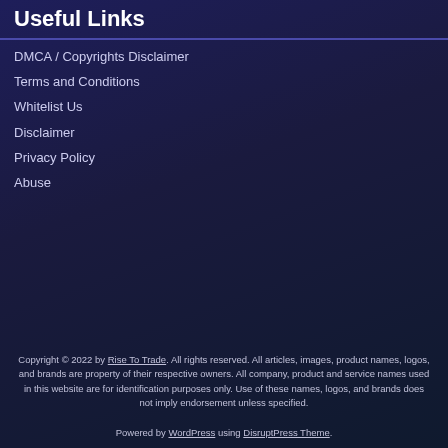Useful Links
DMCA / Copyrights Disclaimer
Terms and Conditions
Whitelist Us
Disclaimer
Privacy Policy
Abuse
Copyright © 2022 by Rise To Trade. All rights reserved. All articles, images, product names, logos, and brands are property of their respective owners. All company, product and service names used in this website are for identification purposes only. Use of these names, logos, and brands does not imply endorsement unless specified.
Powered by WordPress using DisruptPress Theme.